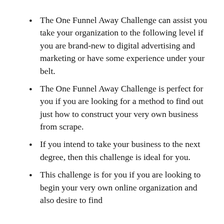The One Funnel Away Challenge can assist you take your organization to the following level if you are brand-new to digital advertising and marketing or have some experience under your belt.
The One Funnel Away Challenge is perfect for you if you are looking for a method to find out just how to construct your very own business from scrape.
If you intend to take your business to the next degree, then this challenge is ideal for you.
This challenge is for you if you are looking to begin your very own online organization and also desire to find